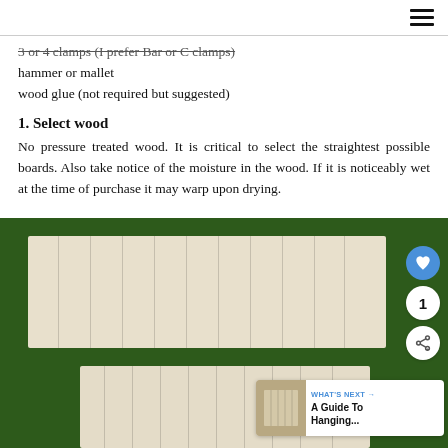3 or 4 clamps (I prefer Bar or C clamps)
hammer or mallet
wood glue (not required but suggested)
1. Select wood
No pressure treated wood. It is critical to select the straightest possible boards. Also take notice of the moisture in the wood. If it is noticeably wet at the time of purchase it may warp upon drying.
[Figure (photo): Two wooden boards made of pale/whitewashed planks laid on green grass, viewed from above. Social sharing UI overlaid on right side with heart button, count of 1, and share icon. 'WHAT'S NEXT' promo card in lower right showing 'A Guide To Hanging...']